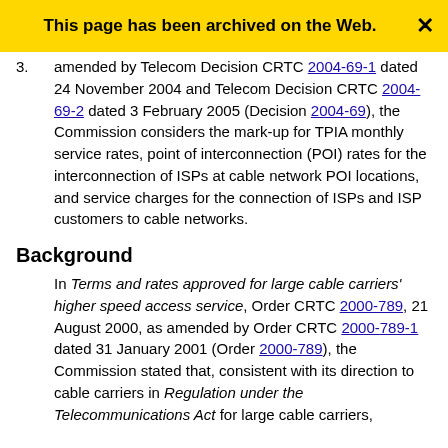This page has been archived on the Web.
amended by Telecom Decision CRTC 2004-69-1 dated 24 November 2004 and Telecom Decision CRTC 2004-69-2 dated 3 February 2005 (Decision 2004-69), the Commission considers the mark-up for TPIA monthly service rates, point of interconnection (POI) rates for the interconnection of ISPs at cable network POI locations, and service charges for the connection of ISPs and ISP customers to cable networks.
Background
In Terms and rates approved for large cable carriers’ higher speed access service, Order CRTC 2000-789, 21 August 2000, as amended by Order CRTC 2000-789-1 dated 31 January 2001 (Order 2000-789), the Commission stated that, consistent with its direction to cable carriers in Regulation under the Telecommunications Act for large cable carriers,